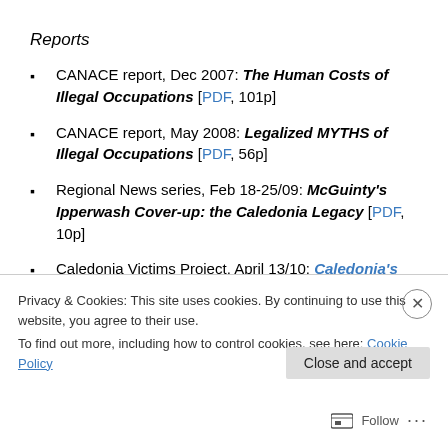Reports
CANACE report, Dec 2007: The Human Costs of Illegal Occupations [PDF, 101p]
CANACE report, May 2008: Legalized MYTHS of Illegal Occupations [PDF, 56p]
Regional News series, Feb 18-25/09: McGuinty's Ipperwash Cover-up: the Caledonia Legacy [PDF, 10p]
Caledonia Victims Project, April 13/10: Caledonia's
Privacy & Cookies: This site uses cookies. By continuing to use this website, you agree to their use.
To find out more, including how to control cookies, see here: Cookie Policy
Follow ...